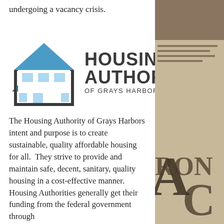undergoing a vacancy crisis.
[Figure (logo): Housing Authority of Grays Harbor logo: blue house icon with triangular roofs and rectangular building outline, accompanied by bold text 'HOUSING AUTHORITY of Grays Harbor']
The Housing Authority of Grays Harbors intent and purpose is to create sustainable, quality affordable housing for all.  They strive to provide and maintain safe, decent, sanitary, quality housing in a cost-effective manner.  Housing Authorities generally get their funding from the federal government through